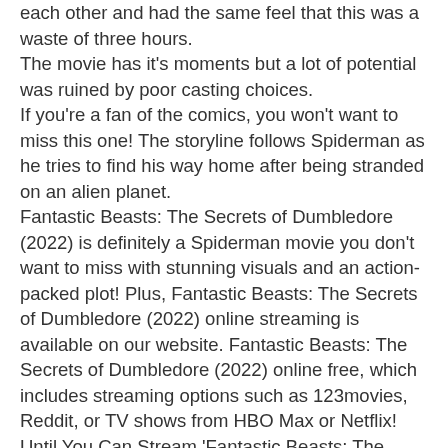each other and had the same feel that this was a waste of three hours. The movie has it's moments but a lot of potential was ruined by poor casting choices. If you're a fan of the comics, you won't want to miss this one! The storyline follows Spiderman as he tries to find his way home after being stranded on an alien planet. Fantastic Beasts: The Secrets of Dumbledore (2022) is definitely a Spiderman movie you don't want to miss with stunning visuals and an action-packed plot! Plus, Fantastic Beasts: The Secrets of Dumbledore (2022) online streaming is available on our website. Fantastic Beasts: The Secrets of Dumbledore (2022) online free, which includes streaming options such as 123movies, Reddit, or TV shows from HBO Max or Netflix! Until You Can Stream 'Fantastic Beasts: The Secrets of Dumbledore (2022)' 2021 at